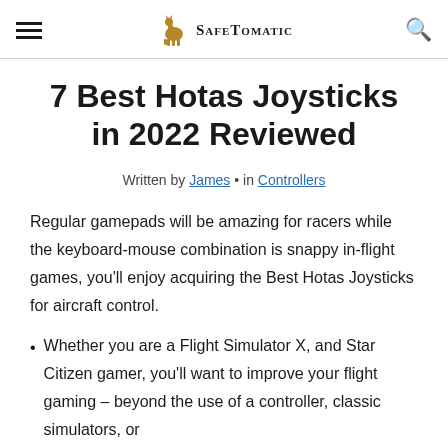SafeTomatic
7 Best Hotas Joysticks in 2022 Reviewed
Written by James • in Controllers
Regular gamepads will be amazing for racers while the keyboard-mouse combination is snappy in-flight games, you'll enjoy acquiring the Best Hotas Joysticks for aircraft control.
Whether you are a Flight Simulator X, and Star Citizen gamer, you'll want to improve your flight gaming – beyond the use of a controller, classic simulators, or